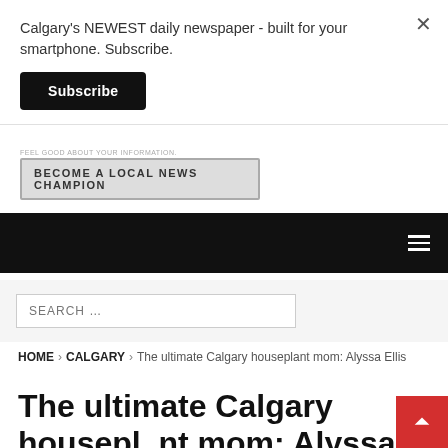Calgary's NEWEST daily newspaper - built for your smartphone. Subscribe.
Subscribe
[Figure (screenshot): Advertisement banner with text 'FEEL GOOD ABOUT YOUR INFORMATION.' and a button 'BECOME A LOCAL NEWS CHAMPION']
[Figure (screenshot): Black navigation bar with hamburger menu icon on the right]
SEARCH ...
HOME > CALGARY > The ultimate Calgary houseplant mom: Alyssa Ellis
The ultimate Calgary houseplant mom: Alyssa Ellis